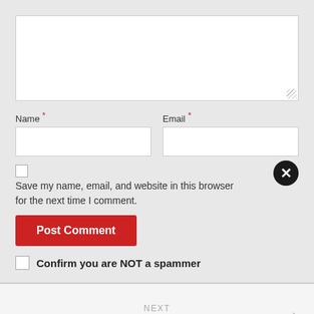[Figure (screenshot): Comment form with textarea, Name and Email fields, save me checkbox with close button, Post Comment button, and Confirm you are NOT a spammer checkbox]
Name * / Email *
Save my name, email, and website in this browser for the next time I comment.
Post Comment
Confirm you are NOT a spammer
NEXT
Kasia in white mesh